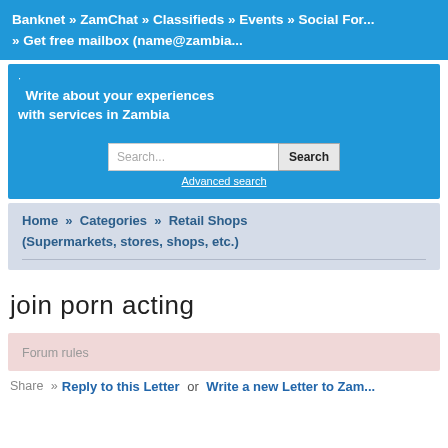Banknet » ZamChat » Classifieds » Events » Social For... » Get free mailbox (name@zambia...
Write about your experiences with services in Zambia
Search... [Search] Advanced search
Home » Categories » Retail Shops (Supermarkets, stores, shops, etc.)
join porn acting
Forum rules
Share » Reply to this Letter or Write a new Letter to Zam...